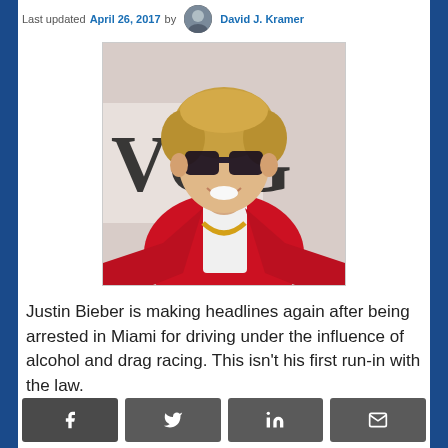Last updated April 26, 2017 by David J. Kramer
[Figure (photo): Justin Bieber wearing sunglasses and a red jacket, posing in front of a Vogue backdrop]
Justin Bieber is making headlines again after being arrested in Miami for driving under the influence of alcohol and drag racing. This isn't his first run-in with the law.
[Figure (infographic): Social sharing buttons: Facebook, Twitter, LinkedIn, Email]